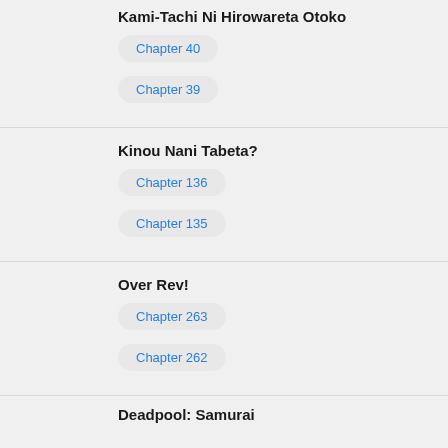Kami-Tachi Ni Hirowareta Otoko
Chapter 40
Chapter 39
Kinou Nani Tabeta?
Chapter 136
Chapter 135
Over Rev!
Chapter 263
Chapter 262
Deadpool: Samurai